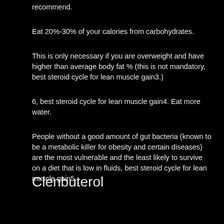recommend.
Eat 20%-30% of your calories from carbohydrates.
This is only necessary if you are overweight and have higher than average body fat % (this is not mandatory, best steroid cycle for lean muscle gain3.)
6, best steroid cycle for lean muscle gain4. Eat more water.
People without a good amount of gut bacteria (known to be a metabolic killer for obesity and certain diseases) are the most vulnerable and the least likely to survive on a diet that is low in fluids, best steroid cycle for lean muscle gain5.
Clenbuterol